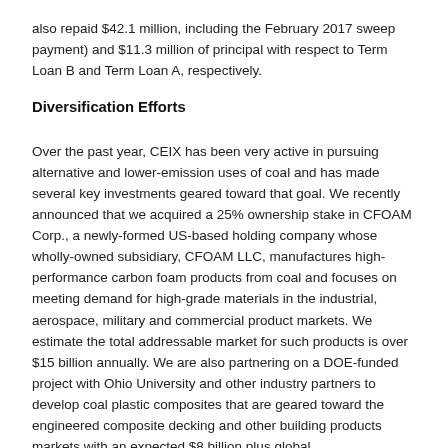also repaid $42.1 million, including the February 2017 sweep payment) and $11.3 million of principal with respect to Term Loan B and Term Loan A, respectively.
Diversification Efforts
Over the past year, CEIX has been very active in pursuing alternative and lower-emission uses of coal and has made several key investments geared toward that goal. We recently announced that we acquired a 25% ownership stake in CFOAM Corp., a newly-formed US-based holding company whose wholly-owned subsidiary, CFOAM LLC, manufactures high-performance carbon foam products from coal and focuses on meeting demand for high-grade materials in the industrial, aerospace, military and commercial product markets. We estimate the total addressable market for such products is over $15 billion annually. We are also partnering on a DOE-funded project with Ohio University and other industry partners to develop coal plastic composites that are geared toward the engineered composite decking and other building products markets with an expected $8 billion plus global addressable market by 2020. Finally, CEIX has recently acquired